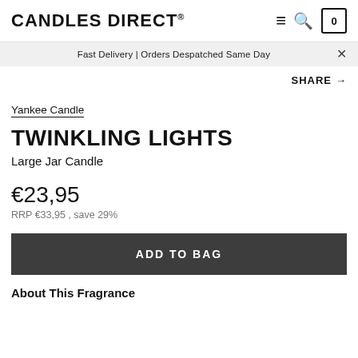CANDLES DIRECT®
Fast Delivery | Orders Despatched Same Day
SHARE →
Yankee Candle
TWINKLING LIGHTS
Large Jar Candle
€23,95
RRP €33,95 , save 29%
ADD TO BAG
About This Fragrance